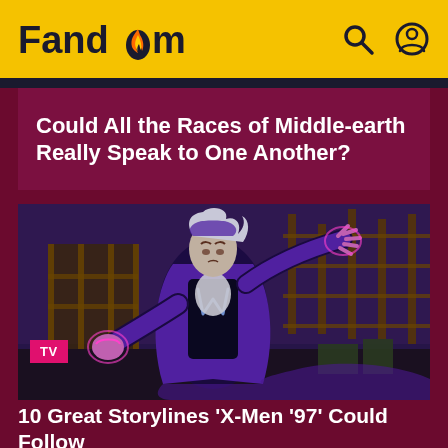Fandom
Could All the Races of Middle-earth Really Speak to One Another?
[Figure (illustration): Animated illustration of Magneto from X-Men '97 in a purple and black costume with white hair, arms outstretched, in front of a construction/industrial background. TV badge in lower left corner.]
10 Great Storylines ‘X-Men ’97’ Could Follow